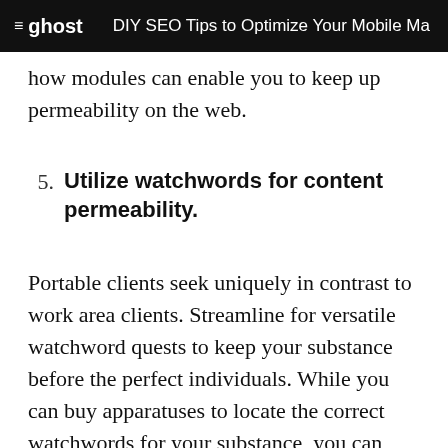≡ ghost   DIY SEO Tips to Optimize Your Mobile Ma
how modules can enable you to keep up permeability on the web.
5.  Utilize watchwords for content permeability.
Portable clients seek uniquely in contrast to work area clients. Streamline for versatile watchword quests to keep your substance before the perfect individuals. While you can buy apparatuses to locate the correct watchwords for your substance, you can discover